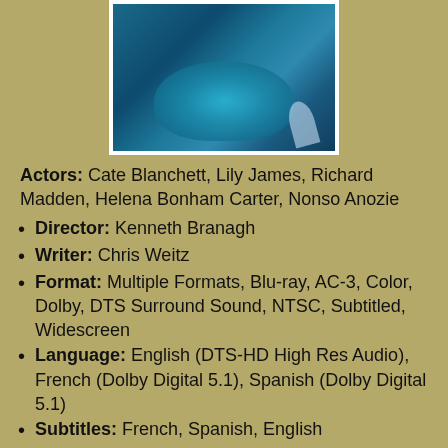[Figure (photo): Photo of a woman in a blue ball gown dress, appearing to be Cinderella movie promotional image]
Actors: Cate Blanchett, Lily James, Richard Madden, Helena Bonham Carter, Nonso Anozie
Director: Kenneth Branagh
Writer: Chris Weitz
Format: Multiple Formats, Blu-ray, AC-3, Color, Dolby, DTS Surround Sound, NTSC, Subtitled, Widescreen
Language: English (DTS-HD High Res Audio), French (Dolby Digital 5.1), Spanish (Dolby Digital 5.1)
Subtitles: French, Spanish, English
Dubbed: French, Spanish
Region: Region A/1